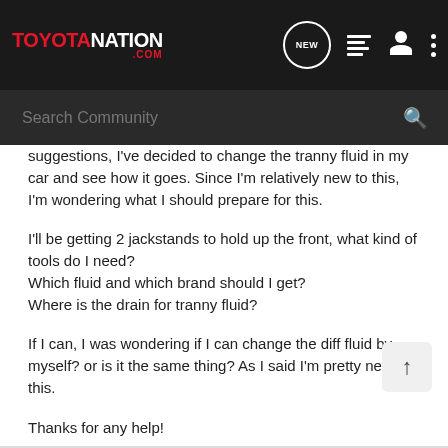[Figure (screenshot): ToyotaNation.com website header with navigation bar showing logo, NEW bubble icon, list icon, user icon, and three-dot menu icon]
[Figure (screenshot): Dark search bar with 'Search Community' placeholder text and magnifying glass icon]
suggestions, I've decided to change the tranny fluid in my car and see how it goes. Since I'm relatively new to this, I'm wondering what I should prepare for this.
I'll be getting 2 jackstands to hold up the front, what kind of tools do I need?
Which fluid and which brand should I get?
Where is the drain for tranny fluid?
If I can, I was wondering if I can change the diff fluid by myself? or is it the same thing? As I said I'm pretty new to this.
Thanks for any help!